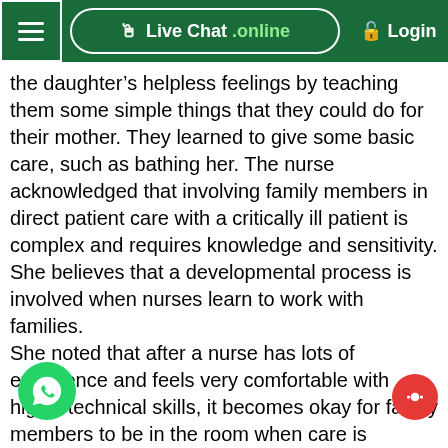Live Chat .online  Login
the daughter’s helpless feelings by teaching them some simple things that they could do for their mother. They learned to give some basic care, such as bathing her. The nurse acknowledged that involving family members in direct patient care with a critically ill patient is complex and requires knowledge and sensitivity. She believes that a developmental process is involved when nurses learn to work with families.
She noted that after a nurse has lots of experience and feels very comfortable with highly technical skills, it becomes okay for family members to be in the room when care is provided. She pointed out that direct observation by anxious family members can be disconcerting to those who are insecure with their skills when family members ask things like why are you doing this? Nurse “So and So” does it differently.” She commented that nurses learn to be flexible and to reset priorities. They should be able to let some